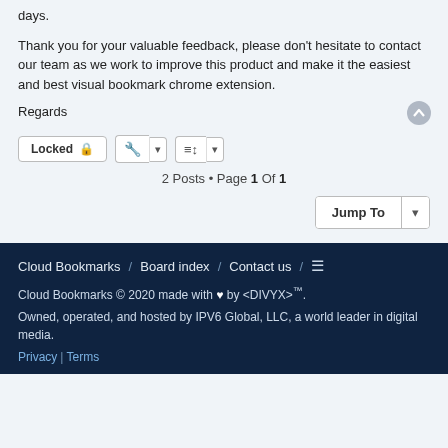Your subscription will be updated automatically within a few days.
Thank you for your valuable feedback, please don't hesitate to contact our team as we work to improve this product and make it the easiest and best visual bookmark chrome extension.
Regards
2 Posts • Page 1 Of 1
Cloud Bookmarks / Board index / Contact us / ≡
Cloud Bookmarks © 2020 made with ♥ by <DIVYX>™.
Owned, operated, and hosted by IPV6 Global, LLC, a world leader in digital media.
Privacy | Terms